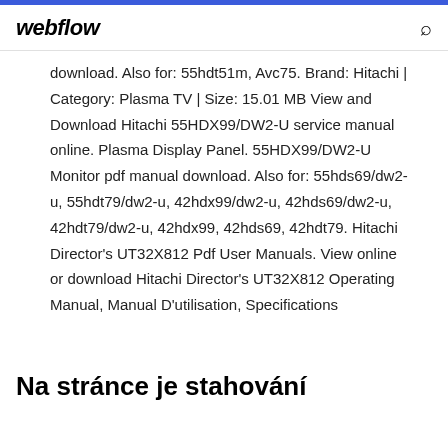webflow
download. Also for: 55hdt51m, Avc75. Brand: Hitachi | Category: Plasma TV | Size: 15.01 MB View and Download Hitachi 55HDX99/DW2-U service manual online. Plasma Display Panel. 55HDX99/DW2-U Monitor pdf manual download. Also for: 55hds69/dw2-u, 55hdt79/dw2-u, 42hdx99/dw2-u, 42hds69/dw2-u, 42hdt79/dw2-u, 42hdx99, 42hds69, 42hdt79. Hitachi Director's UT32X812 Pdf User Manuals. View online or download Hitachi Director's UT32X812 Operating Manual, Manual D'utilisation, Specifications
Na stránce je stahování